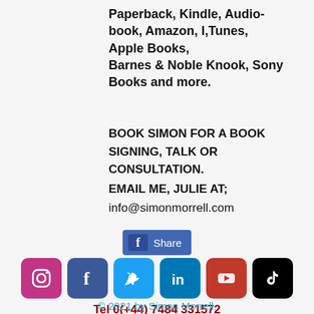Paperback, Kindle, Audiobook, Amazon, I,Tunes, Apple Books, Barnes & Noble Knook, Sony Books and more.
BOOK SIMON FOR A BOOK SIGNING, TALK OR CONSULTATION.
EMAIL ME, JULIE AT;
info@simonmorrell.com
[Figure (other): Facebook Share button]
[Figure (other): Social media icons row: Instagram, Facebook, Twitter, LinkedIn, YouTube, TikTok]
Tel 0(+44) 7484 331572
info@simonmorrell.com
© 2021 by Simon Morrell.